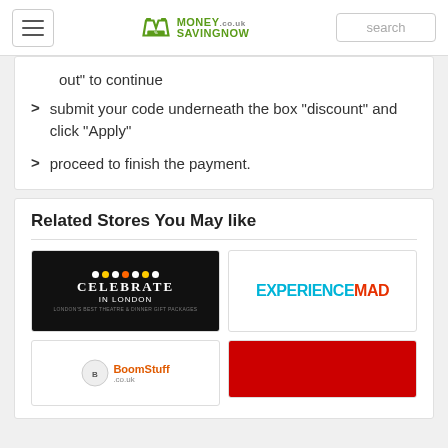MoneySavingNow - search header
out” to continue
submit your code underneath the box “discount” and click “Apply”
proceed to finish the payment.
Related Stores You May like
[Figure (logo): Celebrate In London logo - dark background with stage lights]
[Figure (logo): ExperienceMad logo - cyan and red text]
[Figure (logo): BoomStuff.co.uk logo]
[Figure (logo): Red background logo partially visible]